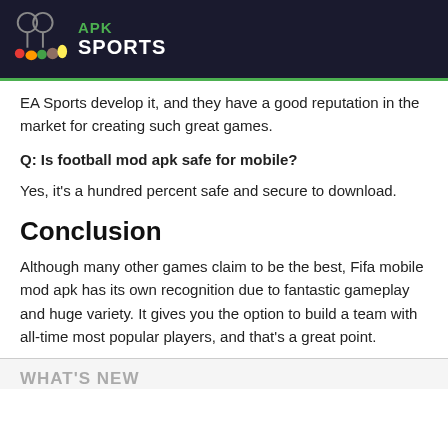APK SPORTS
EA Sports develop it, and they have a good reputation in the market for creating such great games.
Q: Is football mod apk safe for mobile?
Yes, it's a hundred percent safe and secure to download.
Conclusion
Although many other games claim to be the best, Fifa mobile mod apk has its own recognition due to fantastic gameplay and huge variety. It gives you the option to build a team with all-time most popular players, and that's a great point.
WHAT'S NEW